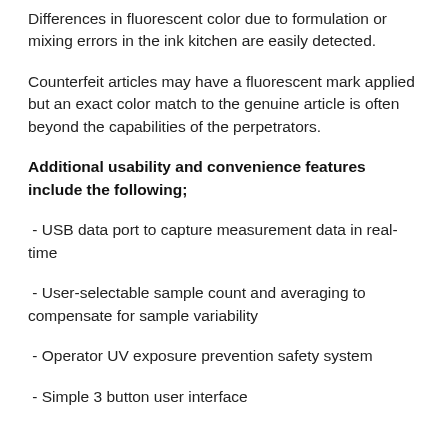Differences in fluorescent color due to formulation or mixing errors in the ink kitchen are easily detected.
Counterfeit articles may have a fluorescent mark applied but an exact color match to the genuine article is often beyond the capabilities of the perpetrators.
Additional usability and convenience features include the following;
- USB data port to capture measurement data in real-time
- User-selectable sample count and averaging to compensate for sample variability
- Operator UV exposure prevention safety system
- Simple 3 button user interface